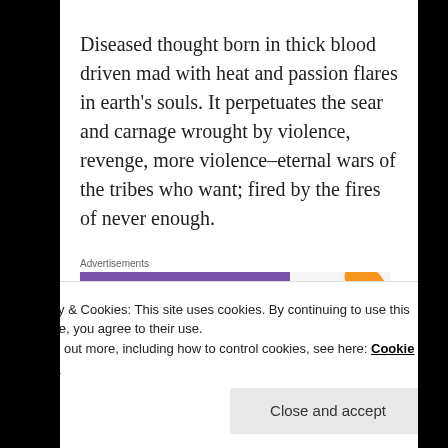Diseased thought born in thick blood driven mad with heat and passion flares in earth's souls. It perpetuates the sear and carnage wrought by violence, revenge, more violence–eternal wars of the tribes who want; fired by the fires of never enough.
Advertisements
[Figure (other): WooCommerce advertisement banner: purple background with WooCommerce logo on left, teal arrow pointing left, text 'How to start selling subscriptions online' on right, orange and blue leaf shapes in top-right corner.]
The slip stream slides, clouds rolling,
Privacy & Cookies: This site uses cookies. By continuing to use this website, you agree to their use.
To find out more, including how to control cookies, see here: Cookie Policy